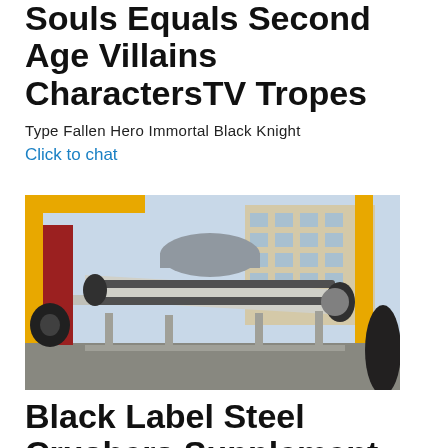Souls Equals Second Age Villains CharactersTV Tropes
Type Fallen Hero Immortal Black Knight
Click to chat
[Figure (photo): Industrial machinery - a conveyor belt or crusher machine on a construction/industrial site with yellow cranes, red structures, and a building in the background.]
Black Label Steel Crushers Supplement